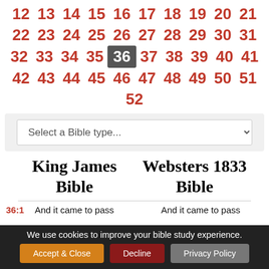12 13 14 15 16 17 18 19 20 21 22 23 24 25 26 27 28 29 30 31 32 33 34 35 36 37 38 39 40 41 42 43 44 45 46 47 48 49 50 51 52
Select a Bible type...
King James Bible
Websters 1833 Bible
36:1  And it came to pass    And it came to pass
We use cookies to improve your bible study experience.
Accept & Close   Decline   Privacy Policy